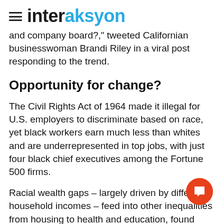interaksyon
and company board?," tweeted Californian businesswoman Brandi Riley in a viral post responding to the trend.
Opportunity for change?
The Civil Rights Act of 1964 made it illegal for U.S. employers to discriminate based on race, yet black workers earn much less than whites and are underrepresented in top jobs, with just four black chief executives among the Fortune 500 firms.
Racial wealth gaps – largely driven by differing household incomes – feed into other inequalities from housing to health and education, found Inequality.org, a project of the Institute for Policy Studies think-tank.